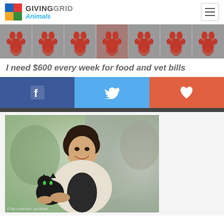GIVINGGRID Animals
[Figure (illustration): Grid of paw print icons with hearts on gray background]
I need $600 every week for food and vet bills
[Figure (infographic): Social sharing bar with Facebook, Twitter, and heart/favorite buttons]
[Figure (photo): Smiling young person with short dark hair holding a black cat, photographed outdoors with blurred background. Photo credit: the snatchers' syndicate]